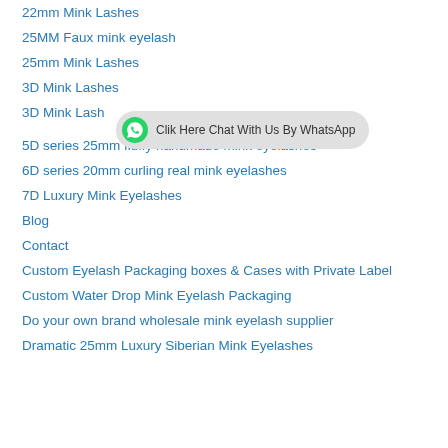22mm Mink Lashes
25MM Faux mink eyelash
25mm Mink Lashes
3D Mink Lashes
3D Mink Lash
[Figure (other): WhatsApp chat button with green phone icon and text: Clik Here Chat With Us By WhatsApp]
5D series 25mm fluffy handmade mink eyelashes
6D series 20mm curling real mink eyelashes
7D Luxury Mink Eyelashes
Blog
Contact
Custom Eyelash Packaging boxes & Cases with Private Label
Custom Water Drop Mink Eyelash Packaging
Do your own brand wholesale mink eyelash supplier
Dramatic 25mm Luxury Siberian Mink Eyelashes